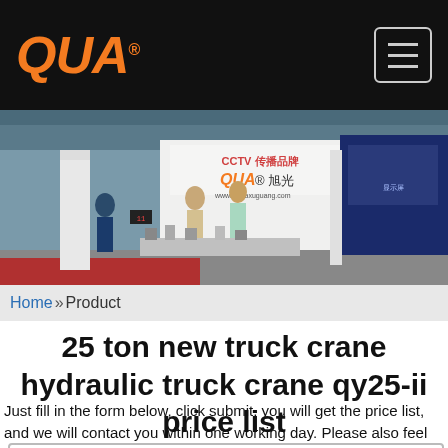QUA® [logo] [hamburger menu]
[Figure (photo): Trade show exhibition booth scene with QUA 旭光 branding displayed on banner. Several people standing at the booth with products and display screens visible. CCTV logo visible in background. www.chinaxuguang.com shown on banner.]
Home »Product
25 ton new truck crane hydraulic truck crane qy25-ii price list
Just fill in the form below, click submit, you will get the price list, and we will contact you within one working day. Please also feel free to Contact Us via email or phone. (* is required).